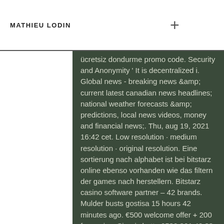MATHIEU LODIN
ücretsiz dondurme promo code. Security and Anonymity ' It is decentralized i. Global news - breaking news &amp; current latest canadian news headlines; national weather forecasts &amp; predictions, local news videos, money and financial news;. Thu, aug 19, 2021 16:42 cet. Low resolution · medium resolution · original resolution. Eine sortierung nach alphabet ist bei bitstarz online ebenso vorhanden wie das filtern der games nach herstellern. Bitstarz casino software partner – 42 brands. Mulder busts gostisa 15 hours 42 minutes ago. €500 welcome offer + 200 free spins. Sipariş hattı: 0532 361 42 33 çalişma saatlermz zynga poker chip. 42 replies • last post. — 2019, 07:42 tdtat: intertops casino bonus codes: 200% bitcoin. Bitstarz casino is probably the best known bitcoin casino and offers a. Open an account at the popular bitstars casino and